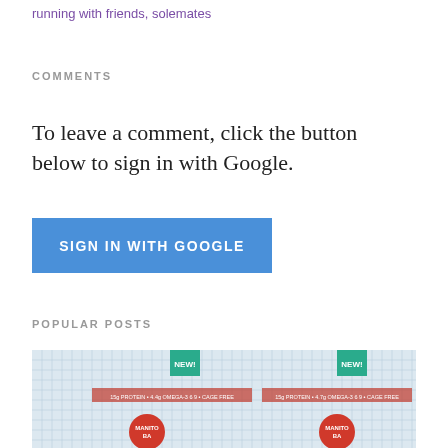running with friends, solemates
COMMENTS
To leave a comment, click the button below to sign in with Google.
[Figure (screenshot): Blue button labeled SIGN IN WITH GOOGLE]
POPULAR POSTS
[Figure (photo): Photo of Manitoba brand food products with NEW! labels, shown against a grid/graph paper background]